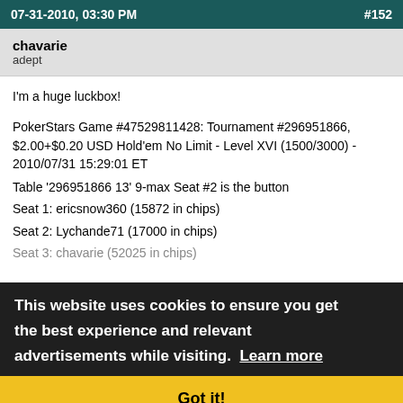07-31-2010, 03:30 PM  #152
chavarie
adept
I'm a huge luckbox!

PokerStars Game #47529811428: Tournament #296951866, $2.00+$0.20 USD Hold'em No Limit - Level XVI (1500/3000) - 2010/07/31 15:29:01 ET
Table '296951866 13' 9-max Seat #2 is the button
Seat 1: ericsnow360 (15872 in chips)
Seat 2: Lychande71 (17000 in chips)
Seat 3: chavarie (52025 in chips)
Seat 4: [obscured]
Seat 5: [obscured 330]
ericsnow360: posts the ante 300
[other: posts]
chavarie: posts the ante 300
Salfran: posts the ante 300
ahmadpro: posts the ante 300
chavarie: posts small blind 1500
Salfran: posts big blind 3000
*** HOLE CARDS ***
This website uses cookies to ensure you get the best experience and relevant advertisements while visiting.  Learn more
Got it!